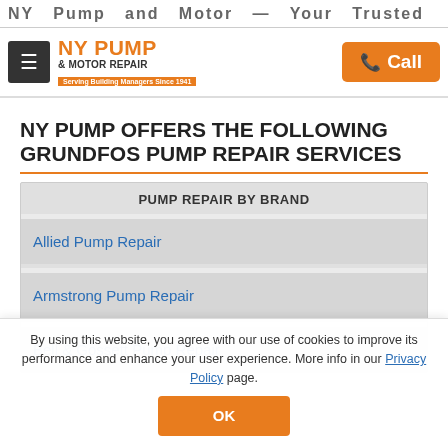NY  Pump  and  Motor  —  Your  Trusted
[Figure (logo): NY Pump & Motor Repair logo with orange text and tagline 'Serving Building Managers Since 1941']
NY PUMP OFFERS THE FOLLOWING GRUNDFOS PUMP REPAIR SERVICES
PUMP REPAIR BY BRAND
Allied Pump Repair
Armstrong Pump Repair
Bell & Gossett Pump Repair
By using this website, you agree with our use of cookies to improve its performance and enhance your user experience. More info in our Privacy Policy page.